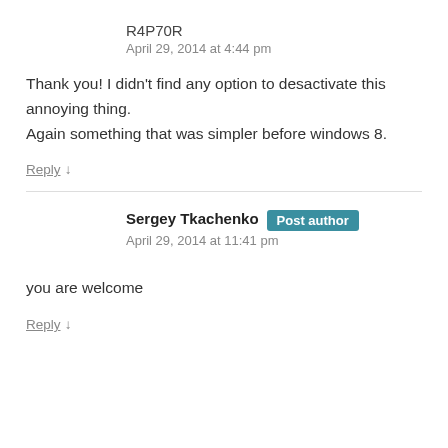R4P70R
April 29, 2014 at 4:44 pm
Thank you! I didn't find any option to desactivate this annoying thing.
Again something that was simpler before windows 8.
Reply ↓
Sergey Tkachenko  Post author
April 29, 2014 at 11:41 pm
you are welcome
Reply ↓